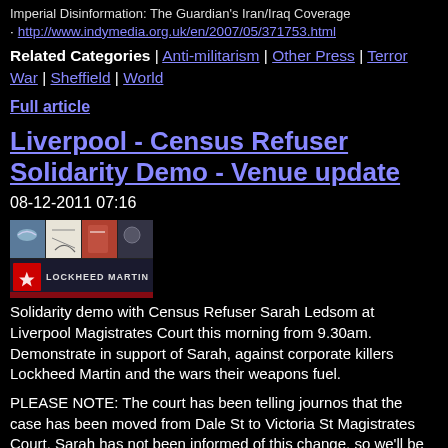Imperial Disinformation: The Guardian's Iran/Iraq Coverage
http://www.indymedia.org.uk/en/2007/05/371753.html
Related Categories | Anti-militarism | Other Press | Terror War | Sheffield | World
Full article
Liverpool - Census Refuser Solidarity Demo - Venue update
08-12-2011 07:16
[Figure (photo): Lockheed Martin logo/banner image with collage of military-related imagery]
Solidarity demo with Census Refuser Sarah Ledsom at Liverpool Magistrates Court this morning from 9.30am. Demonstrate in support of Sarah, against corporate killers Lockheed Martin and the wars their weapons fuel.
PLEASE NOTE: The court has been telling journos that the case has been moved from Dale St to Victoria St Magistrates Court. Sarah has not been informed of this change, so we'll be at Dale St as planned. However, be prepared to walk